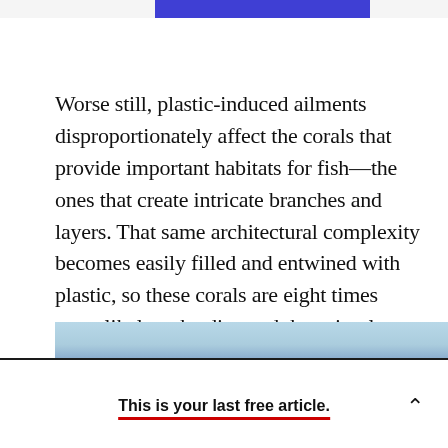Worse still, plastic-induced ailments disproportionately affect the corals that provide important habitats for fish—the ones that create intricate branches and layers. That same architectural complexity becomes easily filled and entwined with plastic, so these corals are eight times more likely to be diseased than simpler ones with rounded shapes.
This is your last free article.